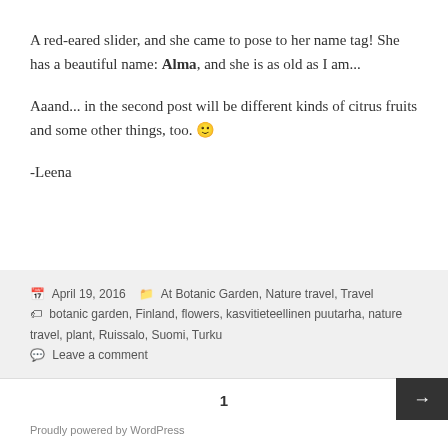A red-eared slider, and she came to pose to her name tag! She has a beautiful name: Alma, and she is as old as I am...
Aaand... in the second post will be different kinds of citrus fruits and some other things, too. 🙂
-Leena
April 19, 2016  At Botanic Garden, Nature travel, Travel  botanic garden, Finland, flowers, kasvitieteellinen puutarha, nature travel, plant, Ruissalo, Suomi, Turku  Leave a comment
1
Proudly powered by WordPress